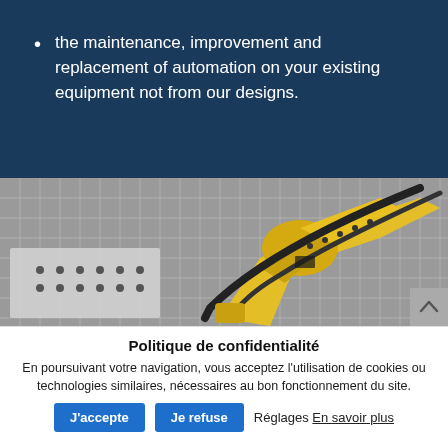the maintenance, improvement and replacement of automation on your existing equipment not from our designs.
[Figure (photo): Yellow industrial robot arm inside a wire mesh cage enclosure in a manufacturing setting, black and white background]
Politique de confidentialité
En poursuivant votre navigation, vous acceptez l'utilisation de cookies ou technologies similaires, nécessaires au bon fonctionnement du site.
J'accepte   Je refuse   Réglages En savoir plus